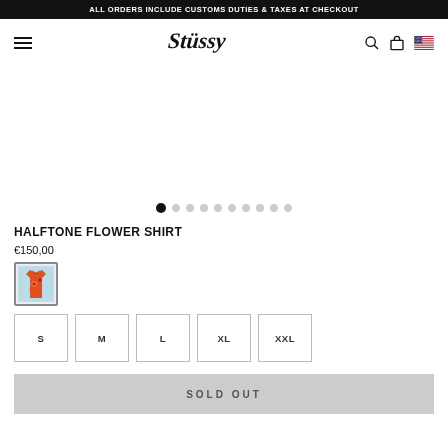ALL ORDERS INCLUDE CUSTOMS DUTIES & TAXES AT CHECKOUT
[Figure (logo): Stussy brand logo in black script]
[Figure (infographic): Carousel navigation dots, 10 total, first dot active/filled black, rest grey]
HALFTONE FLOWER SHIRT
€150,00
[Figure (photo): Small thumbnail of the Halftone Flower Shirt — red/orange floral print shirt]
S
M
L
XL
XXL
SOLD OUT